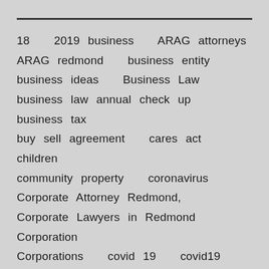18  2019 business  ARAG attorneys  ARAG redmond  business entity  business ideas  Business Law  business law annual check up  business tax  buy sell agreement  cares act  children  community property  coronavirus  Corporate Attorney Redmond,  Corporate Lawyers in Redmond  Corporation  Corporations  covid 19  covid19  disposition of remains  divorce  Employer  estate planning  Estate Planning  estate planning lawyer redmond  estate planning redmond  estate planning washington  estate tax